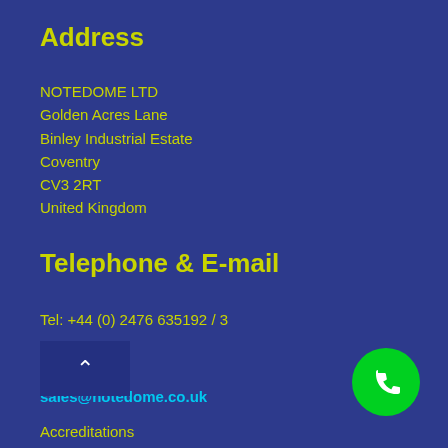Address
NOTEDOME LTD
Golden Acres Lane
Binley Industrial Estate
Coventry
CV3 2RT
United Kingdom
Telephone & E-mail
Tel: +44 (0) 2476 635192 / 3
E-mail
sales@notedome.co.uk
Accreditations